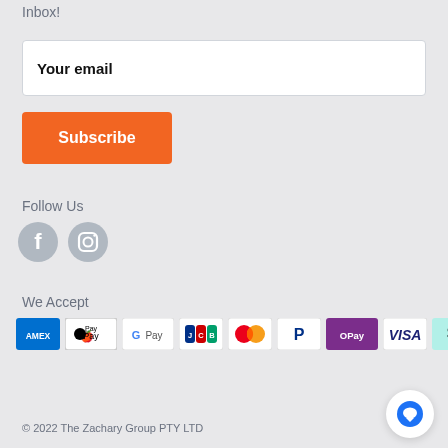Inbox!
Your email
Subscribe
Follow Us
[Figure (illustration): Facebook and Instagram social media icon circles (grey)]
We Accept
[Figure (illustration): Payment method icons: Amex, Apple Pay, Google Pay, JCB, Mastercard, PayPal, OPay, Visa, Afterpay]
© 2022 The Zachary Group PTY LTD